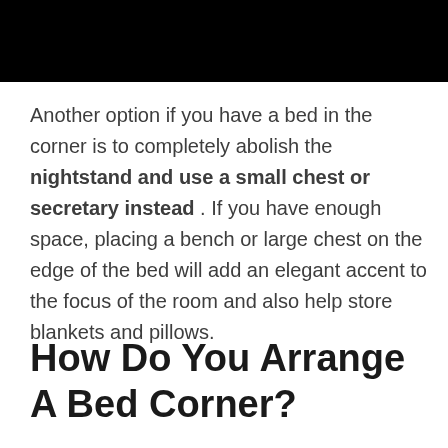[Figure (photo): Black image/banner at the top of the page]
Another option if you have a bed in the corner is to completely abolish the nightstand and use a small chest or secretary instead . If you have enough space, placing a bench or large chest on the edge of the bed will add an elegant accent to the focus of the room and also help store blankets and pillows.
How Do You Arrange A Bed Corner?